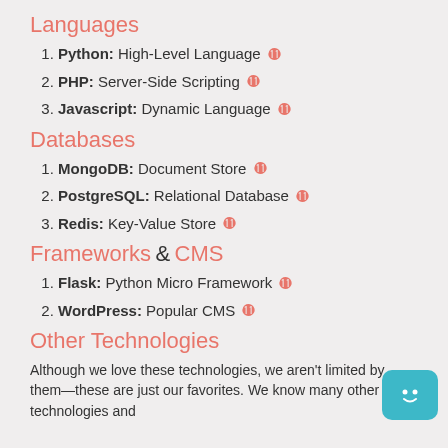Languages
1. Python: High-Level Language ⊕
2. PHP: Server-Side Scripting ⊕
3. Javascript: Dynamic Language ⊕
Databases
1. MongoDB: Document Store ⊕
2. PostgreSQL: Relational Database ⊕
3. Redis: Key-Value Store ⊕
Frameworks & CMS
1. Flask: Python Micro Framework ⊕
2. WordPress: Popular CMS ⊕
Other Technologies
Although we love these technologies, we aren't limited by them—these are just our favorites. We know many other technologies and
[Figure (illustration): Teal chatbot icon with a smiling face, positioned in bottom right corner]